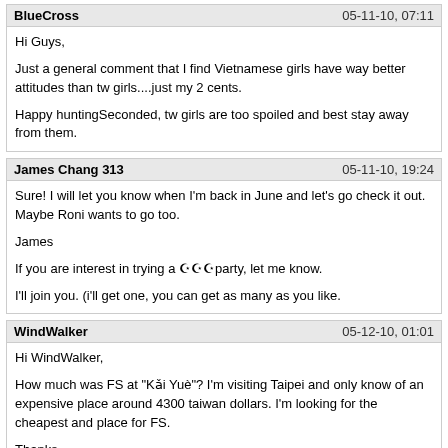BlueCross | 05-11-10, 07:11
Hi Guys,

Just a general comment that I find Vietnamese girls have way better attitudes than tw girls....just my 2 cents.

Happy huntingSeconded, tw girls are too spoiled and best stay away from them.
James Chang 313 | 05-11-10, 19:24
Sure! I will let you know when I'm back in June and let's go check it out. Maybe Roni wants to go too.

James

If you are interest in trying a ☪☪☪party, let me know.

I'll join you. (i'll get one, you can get as many as you like.
WindWalker | 05-12-10, 01:01
Hi WindWalker,

How much was FS at "Kǎi Yuè"? I'm visiting Taipei and only know of an expensive place around 4300 taiwan dollars. I'm looking for the cheapest and place for FS.

Thanks

All sauna that has FS costs the standard 4,200 NT. The only one that u can get discount on is if you go to Caesar's in Asia World(reported many many many times with very detailed info), buy an $30,000 prepaid card, which will have ...